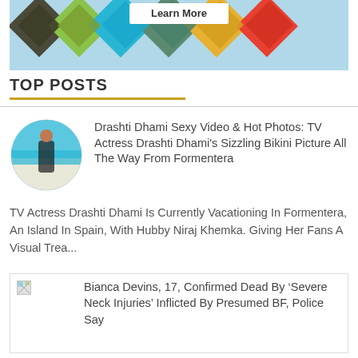[Figure (photo): Travel collage advertisement banner with multiple diamond-shaped travel photos (beach, ATV, resort, kayaking) and a Learn More button]
TOP POSTS
[Figure (photo): Circular thumbnail image of a woman in bikini at a beach with turquoise water]
Drashti Dhami Sexy Video & Hot Photos: TV Actress Drashti Dhami's Sizzling Bikini Picture All The Way From Formentera
TV Actress Drashti Dhami Is Currently Vacationing In Formentera, An Island In Spain, With Hubby Niraj Khemka. Giving Her Fans A Visual Trea...
[Figure (photo): Broken image thumbnail for second post]
Bianca Devins, 17, Confirmed Dead By ‘Severe Neck Injuries’ Inflicted By Presumed BF, Police Say